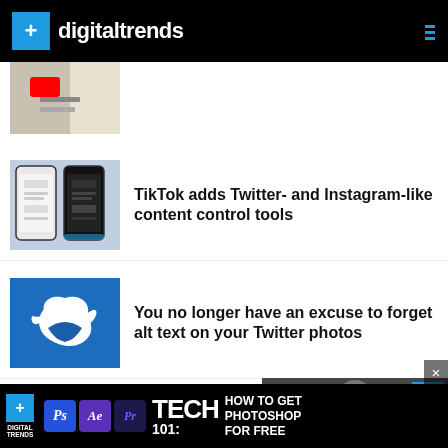digitaltrends
[Figure (photo): Partial thumbnail showing a phone screen with YouTube app visible]
TikTok adds Twitter- and Instagram-like content control tools
[Figure (photo): Two smartphones side by side showing TikTok settings screen (light and dark mode)]
You no longer have an excuse to forget alt text on your Twitter photos
[Figure (photo): Blue background with white Twitter bird logo]
The biggest YouTube channels
[Figure (photo): Person looking at a screen, with Digital Trends badge overlay]
[Figure (screenshot): Digital Trends ad banner: Tech 101 - How to Get Photoshop for Free, with Adobe app icons]